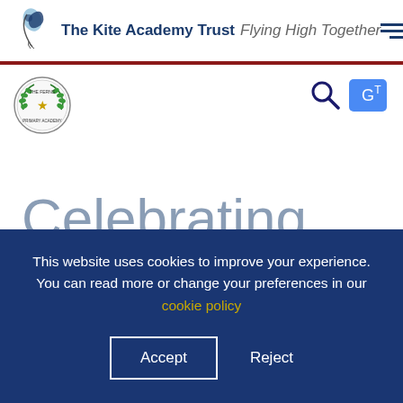The Kite Academy Trust Flying High Together
[Figure (logo): School badge/crest logo for The Ferns Primary Academy, circular with laurel wreath]
[Figure (other): Search icon (magnifying glass) and Google Translate icon]
Celebrating
This website uses cookies to improve your experience. You can read more or change your preferences in our cookie policy
Accept   Reject